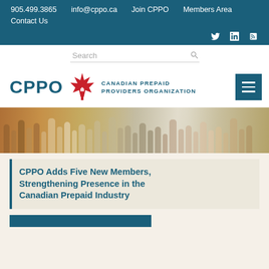905.499.3865   info@cppo.ca   Join CPPO   Members Area   Contact Us
[Figure (logo): CPPO Canadian Prepaid Providers Organization logo with red maple leaf]
Search
[Figure (photo): Blurred crowd of people walking outdoors, warm sunlit background]
CPPO Adds Five New Members, Strengthening Presence in the Canadian Prepaid Industry